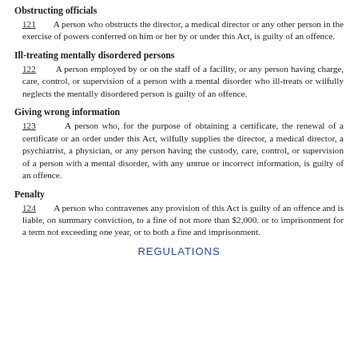Obstructing officials
121 A person who obstructs the director, a medical director or any other person in the exercise of powers conferred on him or her by or under this Act, is guilty of an offence.
Ill-treating mentally disordered persons
122 A person employed by or on the staff of a facility, or any person having charge, care, control, or supervision of a person with a mental disorder who ill-treats or wilfully neglects the mentally disordered person is guilty of an offence.
Giving wrong information
123 A person who, for the purpose of obtaining a certificate, the renewal of a certificate or an order under this Act, wilfully supplies the director, a medical director, a psychiatrist, a physician, or any person having the custody, care, control, or supervision of a person with a mental disorder, with any untrue or incorrect information, is guilty of an offence.
Penalty
124 A person who contravenes any provision of this Act is guilty of an offence and is liable, on summary conviction, to a fine of not more than $2,000. or to imprisonment for a term not exceeding one year, or to both a fine and imprisonment.
REGULATIONS